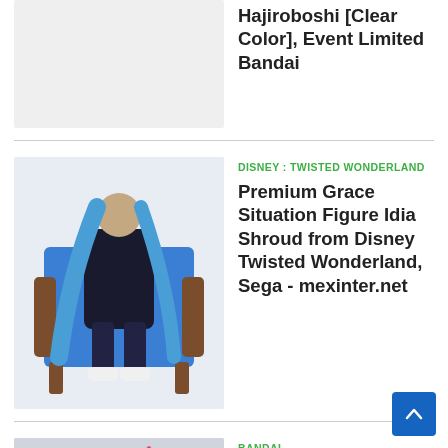[Figure (photo): Partial view of a collectible figure, light gray background]
Hajiroboshi [Clear Color], Event Limited Bandai
[Figure (photo): Premium Grace Situation Figure Idia Shroud seated in armchair, blue clothing, white sneakers]
DISNEY : TWISTED WONDERLAND
Premium Grace Situation Figure Idia Shroud from Disney Twisted Wonderland, Sega - mexinter.net
[Figure (photo): HGUC 1/144 Crossbone Gundam X2 Kai model kit, dark mecha with pink accents, gray background]
BANDAI
HGUC 1/144 Crossbone Gundam X2 Kai, Premium Bandai